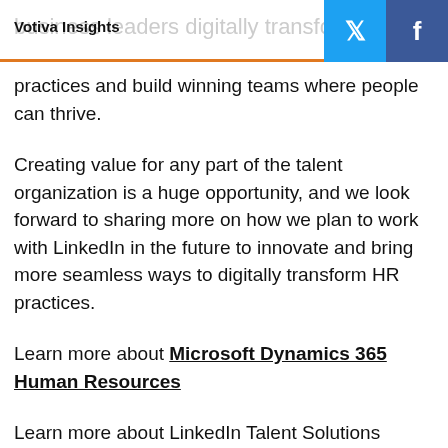Votiva Insights — ...business leaders digitally transform... [social: Twitter, Facebook]
practices and build winning teams where people can thrive.
Creating value for any part of the talent organization is a huge opportunity, and we look forward to sharing more on how we plan to work with LinkedIn in the future to innovate and bring more seamless ways to digitally transform HR practices.
Learn more about Microsoft Dynamics 365 Human Resources
Learn more about LinkedIn Talent Solutions